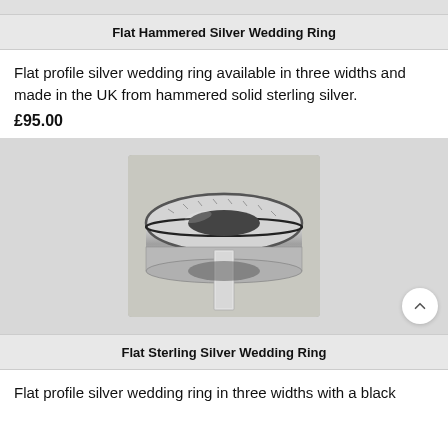Flat Hammered Silver Wedding Ring
Flat profile silver wedding ring available in three widths and made in the UK from hammered solid sterling silver.
£95.00
[Figure (photo): A flat sterling silver wedding ring displayed on a card holder, showing hammered texture on the outer surface with a dark groove/line across the middle, photographed on a light background.]
Flat Sterling Silver Wedding Ring
Flat profile silver wedding ring in three widths with a black